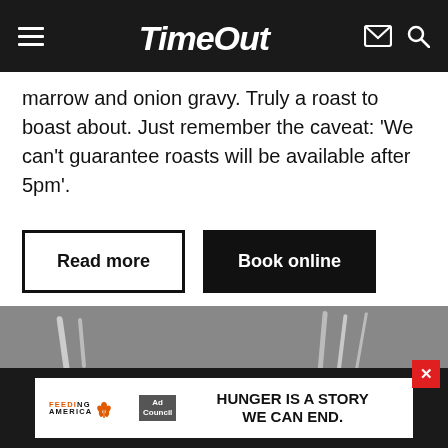TimeOut
marrow and onion gravy. Truly a roast to boast about. Just remember the caveat: ‘We can’t guarantee roasts will be available after 5pm’.
Read more
Book online
[Figure (photo): Close-up photo of a plated dish showing cooked meat and green vegetables on a plate, with cutlery in the background]
[Figure (infographic): Advertisement banner: Feeding America Ad Council logo on left, text 'HUNGER IS A STORY WE CAN END.' on right]